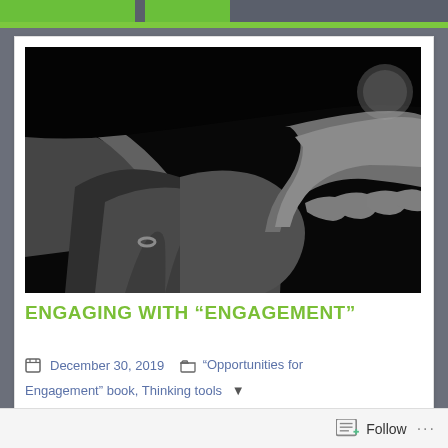[Figure (photo): Black and white photograph of multiple hands clasped together, suggesting community and engagement. An adult hand with a ring is holding other hands from different people.]
ENGAGING WITH “ENGAGEMENT”
December 30, 2019   “Opportunities for Engagement” book, Thinking tools...